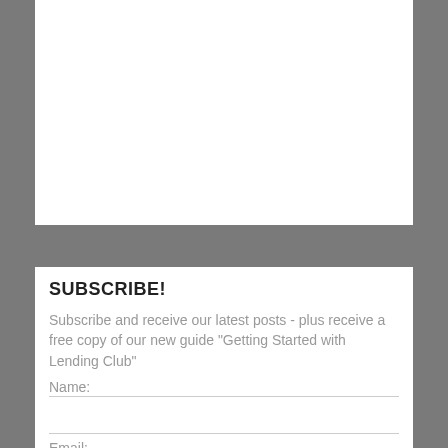SUBSCRIBE!
Subscribe and receive our latest posts - plus receive a free copy of our new guide "Getting Started with Lending Club"
Name:
Email: